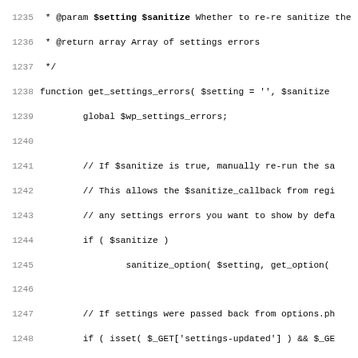[Figure (screenshot): Source code listing showing PHP function get_settings_errors with line numbers 1235-1267, displaying code for retrieving WordPress settings errors including sanitize logic, array merge, transient deletion, and filtering.]